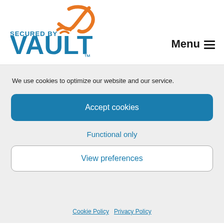[Figure (logo): Secured by Vault logo with orange checkmark/swoosh icon and blue text reading 'SECURED BY VAULT™']
Menu ☰
We use cookies to optimize our website and our service.
Accept cookies
Functional only
View preferences
Cookie Policy   Privacy Policy